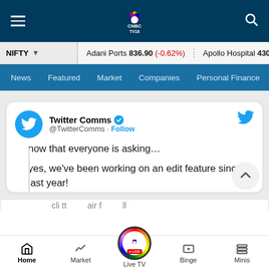[Figure (screenshot): CNBC TV18 mobile app header with hamburger menu, CNBC TV18 peacock logo, and search icon on dark navy background]
NIFTY | Adani Ports 836.90 (-0.62%) | Apollo Hospital 4307.05 (-0…
News | Featured | Market | Companies | Personal Finance
now that everyone is asking...

yes, we've been working on an edit feature since last year!
Twitter Comms @TwitterComms · Follow